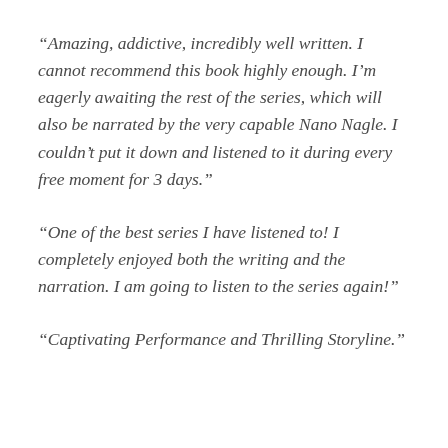“Amazing, addictive, incredibly well written. I cannot recommend this book highly enough. I’m eagerly awaiting the rest of the series, which will also be narrated by the very capable Nano Nagle. I couldn’t put it down and listened to it during every free moment for 3 days.”
“One of the best series I have listened to! I completely enjoyed both the writing and the narration. I am going to listen to the series again!”
“Captivating Performance and Thrilling Storyline.”